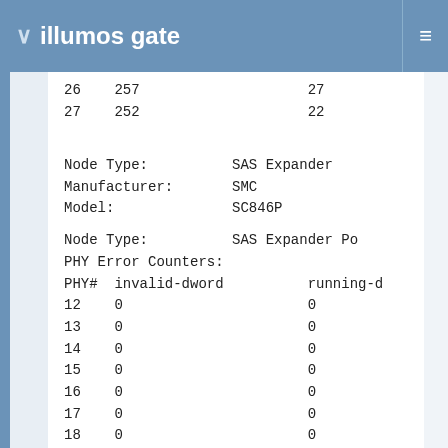illumos gate
| PHY# | value | col3 |
| --- | --- | --- |
| 26 | 257 | 27 |
| 27 | 252 | 22 |
Node Type:		SAS Expander
Manufacturer:		SMC
Model:			SC846P
Node Type:		SAS Expander Po
PHY Error Counters:
PHY#  invalid-dword     running-d
| PHY# | invalid-dword | running-d |
| --- | --- | --- |
| 12 | 0 | 0 |
| 13 | 0 | 0 |
| 14 | 0 | 0 |
| 15 | 0 | 0 |
| 16 | 0 | 0 |
| 17 | 0 | 0 |
| 18 | 0 | 0 |
| 19 | 0 | 0 |